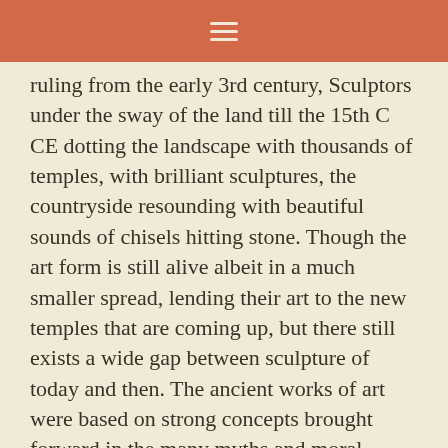≡
ruling from the early 3rd century, Sculptors under the sway of the land till the 15th C CE dotting the landscape with thousands of temples, with brilliant sculptures, the countryside resounding with beautiful sounds of chisels hitting stone. Though the art form is still alive albeit in a much smaller spread, lending their art to the new temples that are coming up, but there still exists a wide gap between sculpture of today and then. The ancient works of art were based on strong concepts brought forward in the many myths and moral stories, sung in our literature, these amazing works were art were like moving cinescapes bringing forth the crux of the story, thereby forever etched in our memory. The sculpture would chose a good quality stone to showcase the good moral and hence his creation would stand the test of time, have stood and would still stand if not for the wanton acts of us humans. In